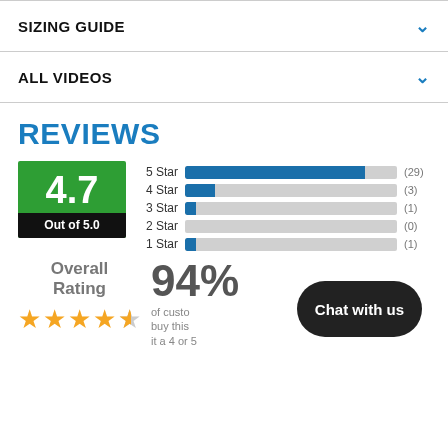SIZING GUIDE
ALL VIDEOS
REVIEWS
[Figure (bar-chart): Star Rating Distribution]
4.7
Out of 5.0
Overall Rating
94%
of customers who buy this product give it a 4 or 5 star rating